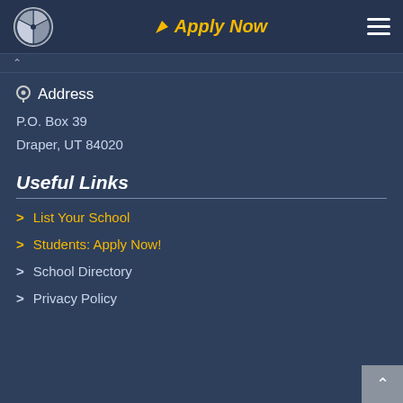Apply Now
Address
P.O. Box 39
Draper, UT 84020
Useful Links
List Your School
Students: Apply Now!
School Directory
Privacy Policy